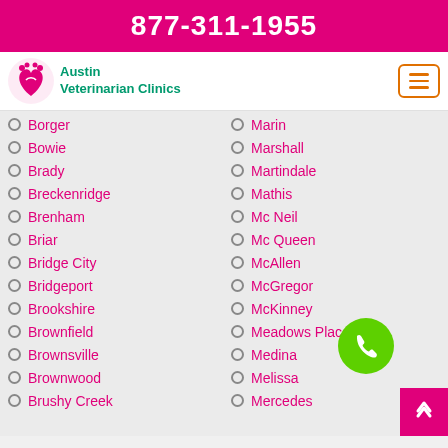877-311-1955
[Figure (logo): Austin Veterinarian Clinics logo with heart and paw icon]
Borger
Marin
Bowie
Marshall
Brady
Martindale
Breckenridge
Mathis
Brenham
Mc Neil
Briar
Mc Queen
Bridge City
McAllen
Bridgeport
McGregor
Brookshire
McKinney
Brownfield
Meadows Place
Brownsville
Medina
Brownwood
Melissa
Brushy Creek
Mercedes